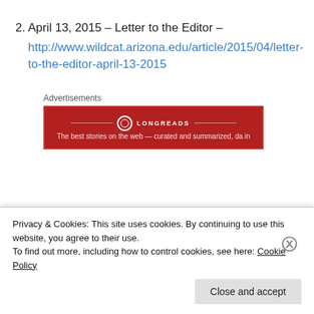2. April 13, 2015 – Letter to the Editor – http://www.wildcat.arizona.edu/article/2015/04/letter-to-the-editor-april-13-2015
[Figure (screenshot): Longreads advertisement banner with red background and white text]
3. April 15, 2015 – FOO...
Privacy & Cookies: This site uses cookies. By continuing to use this website, you agree to their use. To find out more, including how to control cookies, see here: Cookie Policy
Close and accept